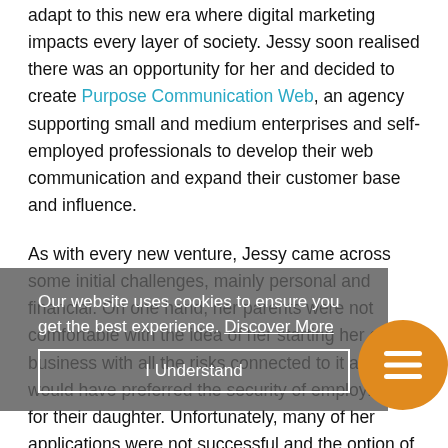adapt to this new era where digital marketing impacts every layer of society. Jessy soon realised there was an opportunity for her and decided to create Purpose Communication Web, an agency supporting small and medium enterprises and self-employed professionals to develop their web communication and expand their customer base and influence.

As with every new venture, Jessy came across some initial challenges, mainly personal and financial. On one hand, her parents were not comfortable with the idea of her starting her own business with all the risks connected to it and would have preferred the security of employment for their daughter. Unfortunately, many of her applications were not successful and the option of working as a freelancer was not a viable alternative as Jessy feels that companies in France are
Our website uses cookies to ensure you get the best experience. Discover More
I Understand